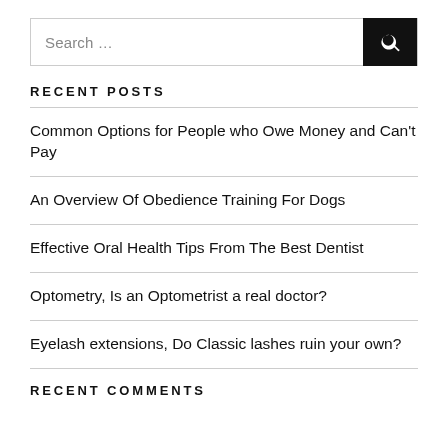Search …
RECENT POSTS
Common Options for People who Owe Money and Can't Pay
An Overview Of Obedience Training For Dogs
Effective Oral Health Tips From The Best Dentist
Optometry, Is an Optometrist a real doctor?
Eyelash extensions, Do Classic lashes ruin your own?
RECENT COMMENTS